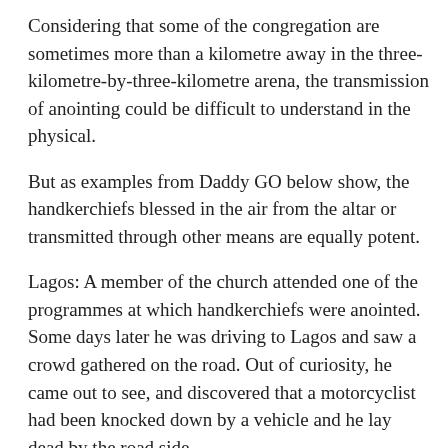Considering that some of the congregation are sometimes more than a kilometre away in the three-kilometre-by-three-kilometre arena, the transmission of anointing could be difficult to understand in the physical.
But as examples from Daddy GO below show, the handkerchiefs blessed in the air from the altar or transmitted through other means are equally potent.
Lagos: A member of the church attended one of the programmes at which handkerchiefs were anointed. Some days later he was driving to Lagos and saw a crowd gathered on the road. Out of curiosity, he came out to see, and discovered that a motorcyclist had been knocked down by a vehicle and he lay dead by the road side.